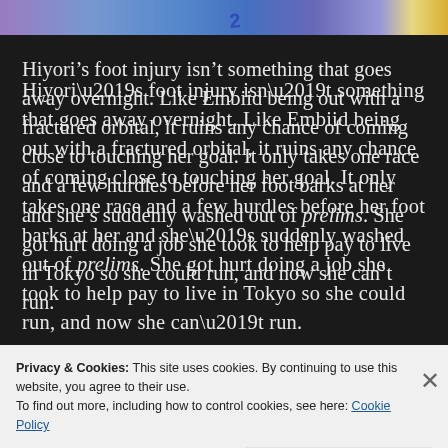[Figure (photo): Partial top strip of an anime/illustration showing characters in athletic uniforms with purple, blue, and gold tones]
Hiyori’s foot injury isn’t something that goes away overnight. Like Embiid being out with a fractured orbital, it ruins any chance of coming close to touching her goal. It only takes one race and a few hurdles before her foot barks at her and she’s suddenly washed out of prelims. She got hurt doing a job she took to help pay to live in Tokyo so she could run, and now she can’t run.
[Figure (photo): Partial bottom strip of an anime/illustration with blue tones]
Privacy & Cookies: This site uses cookies. By continuing to use this website, you agree to their use.
To find out more, including how to control cookies, see here: Cookie Policy
Close and accept
NEXT: THE A...